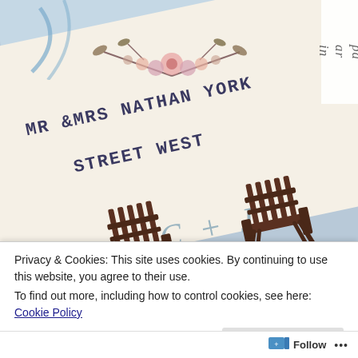[Figure (photo): Close-up photo of wedding stationery: a cream-colored envelope/card showing 'MR & MRS NATHAN YORK' and 'STREET WEST' in block letters, 'C + J' in italic script, two Adirondack chairs illustration in brown, floral watercolor decorations in pink and mauve. Blue envelope behind it. Logo watermark top right partially visible reading 'in ar pa'.]
Privacy & Cookies: This site uses cookies. By continuing to use this website, you agree to their use.
To find out more, including how to control cookies, see here: Cookie Policy
Close and accept
Follow